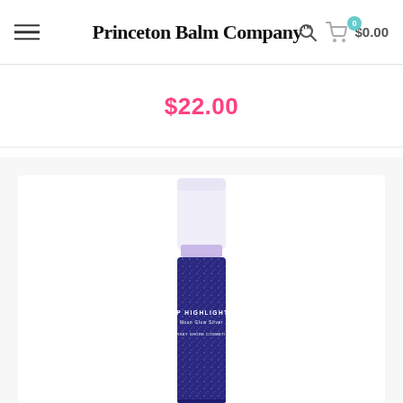Princeton Balm Company™
$22.00
[Figure (photo): A lip balm product tube with dark blue/purple label reading 'JERSEY SHORE COSMETICS LIP HIGHLIGHTER Moon Glow Silver', with a white/translucent lavender top cap]